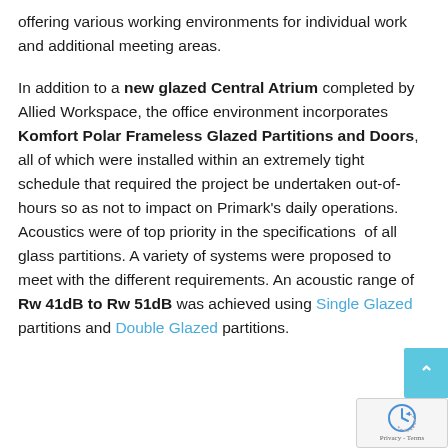offering various working environments for individual work and additional meeting areas.
In addition to a new glazed Central Atrium completed by Allied Workspace, the office environment incorporates Komfort Polar Frameless Glazed Partitions and Doors, all of which were installed within an extremely tight schedule that required the project be undertaken out-of-hours so as not to impact on Primark's daily operations. Acoustics were of top priority in the specifications of all glass partitions. A variety of systems were proposed to meet with the different requirements. An acoustic range of Rw 41dB to Rw 51dB was achieved using Single Glazed partitions and Double Glazed partitions.